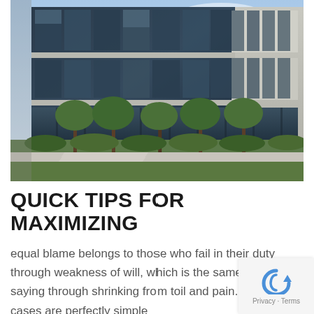[Figure (photo): Modern commercial glass-facade office building with dark reflective windows, several trees lining the sidewalk in front, green bushes at base, blue sky with clouds above.]
QUICK TIPS FOR MAXIMIZING
equal blame belongs to those who fail in their duty through weakness of will, which is the same as saying through shrinking from toil and pain. These cases are perfectly simple